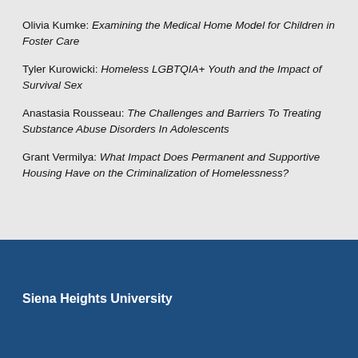Olivia Kumke: Examining the Medical Home Model for Children in Foster Care
Tyler Kurowicki: Homeless LGBTQIA+ Youth and the Impact of Survival Sex
Anastasia Rousseau: The Challenges and Barriers To Treating Substance Abuse Disorders In Adolescents
Grant Vermilya: What Impact Does Permanent and Supportive Housing Have on the Criminalization of Homelessness?
Siena Heights University